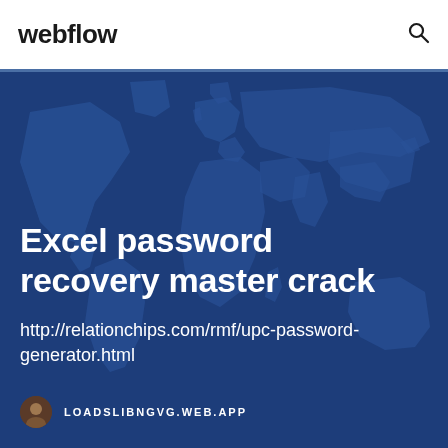webflow
Excel password recovery master crack
http://relationchips.com/rmf/upc-password-generator.html
LOADSLIBNGVG.WEB.APP